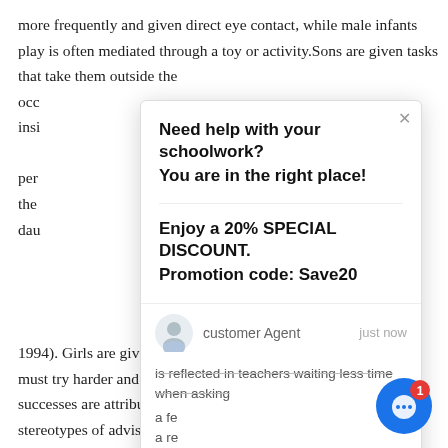more frequently and given direct eye contact, while male infants play is often mediated through a toy or activity.Sons are given tasks that take them outside the occ insi per the dau h
[Figure (screenshot): Chat popup overlay with header 'Need help with your schoolwork? You are in the right place!' and discount text 'Enjoy a 20% SPECIAL DISCOUNT. Promotion code: Save20', followed by a customer agent row with avatar and 'just now' timestamp, a clipped text row, and a reply input bar with icons. A close (X) button is in the top-right corner.]
is reflected in teachers waiting less time when asking a fe a re 1994). Girls are given the message from teachers that they must try harder and endure in order to succeed while boys successes are attributed to intelligence. Of course, the stereotypes of advisors